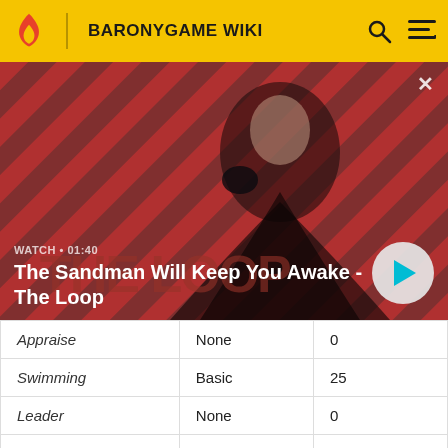BARONYGAME WIKI
[Figure (screenshot): Video thumbnail showing a dark-cloaked figure with a raven on shoulder against a red diagonal striped background. Title reads 'The Sandman Will Keep You Awake - The Loop'. Watch time shown as 01:40. Play button visible bottom right.]
| Skill | Level | Value |
| --- | --- | --- |
| Appraise | None | 0 |
| Swimming | Basic | 25 |
| Leader | None | 0 |
| Casting | None | 0 |